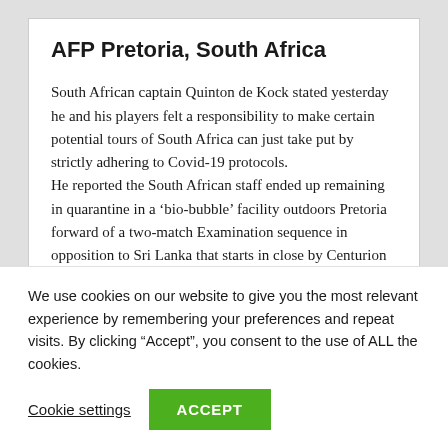AFP Pretoria, South Africa
South African captain Quinton de Kock stated yesterday he and his players felt a responsibility to make certain potential tours of South Africa can just take put by strictly adhering to Covid-19 protocols.
He reported the South African staff ended up remaining in quarantine in a ‘bio-bubble’ facility outdoors Pretoria forward of a two-match Examination sequence in opposition to Sri Lanka that starts in close by Centurion on Saturday.
The players have been adhering to a rigorous routine of space
We use cookies on our website to give you the most relevant experience by remembering your preferences and repeat visits. By clicking “Accept”, you consent to the use of ALL the cookies.
Cookie settings
ACCEPT